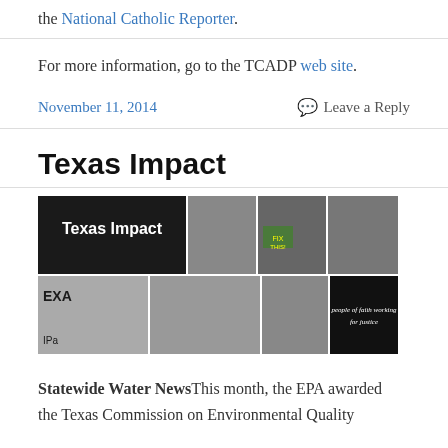the National Catholic Reporter.
For more information, go to the TCADP web site.
November 11, 2014   Leave a Reply
Texas Impact
[Figure (photo): Texas Impact banner image with photos of people at events and the text 'people of faith working for justice']
Statewide Water News This month, the EPA awarded the Texas Commission on Environmental Quality